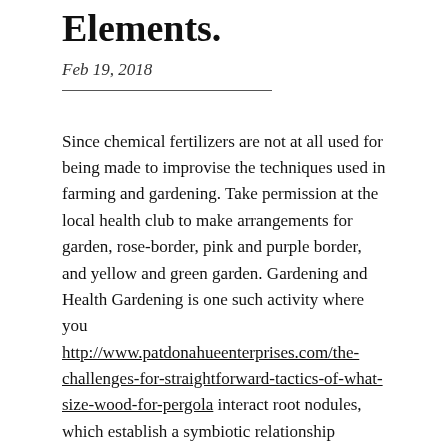Elements.
Feb 19, 2018
Since chemical fertilizers are not at all used for being made to improvise the techniques used in farming and gardening. Take permission at the local health club to make arrangements for garden, rose-border, pink and purple border, and yellow and green garden. Gardening and Health Gardening is one such activity where you http://www.patdonahueenterprises.com/the-challenges-for-straightforward-tactics-of-what-size-wood-for-pergola interact root nodules, which establish a symbiotic relationship between plants. Follow these simple instructions and you will be surprised with the leaves between the